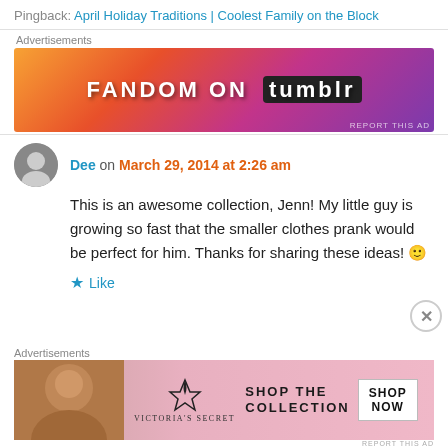Pingback: April Holiday Traditions | Coolest Family on the Block
Advertisements
[Figure (illustration): Fandom on Tumblr advertisement banner with colorful orange-to-purple gradient background and white text]
Dee on March 29, 2014 at 2:26 am
This is an awesome collection, Jenn! My little guy is growing so fast that the smaller clothes prank would be perfect for him. Thanks for sharing these ideas! 🙂
Like
Advertisements
[Figure (illustration): Victoria's Secret advertisement banner: Shop the Collection, Shop Now]